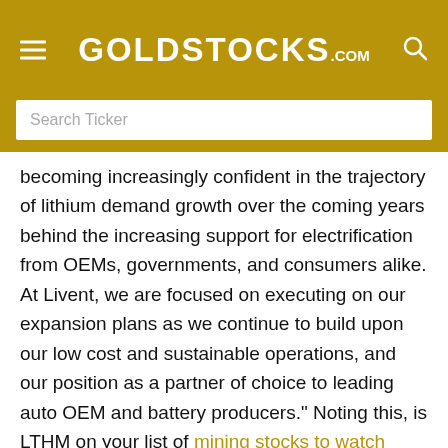GOLDSTOCKS.COM
Search Ticker
becoming increasingly confident in the trajectory of lithium demand growth over the coming years behind the increasing support for electrification from OEMs, governments, and consumers alike. At Livent, we are focused on executing on our expansion plans as we continue to build upon our low cost and sustainable operations, and our position as a partner of choice to leading auto OEM and battery producers." Noting this, is LTHM on your list of mining stocks to watch before 2021 ends?